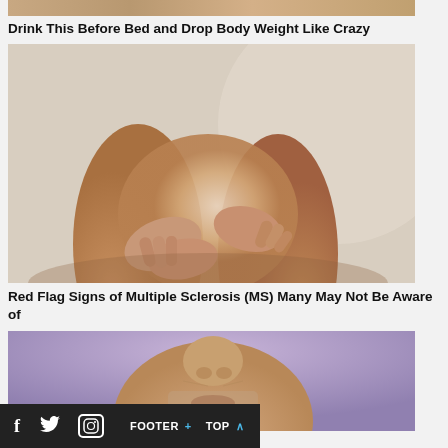[Figure (photo): Cropped top portion of a person's torso/arm with tattoo visible]
Drink This Before Bed and Drop Body Weight Like Crazy
[Figure (photo): Close-up photo of a person's legs with hands gripping one knee, suggesting knee pain or MS symptoms]
Red Flag Signs of Multiple Sclerosis (MS) Many May Not Be Aware of
[Figure (photo): Close-up photo of an older man's face from nose down, against a purple background]
f  Twitter  Instagram  FOOTER +  TOP ^